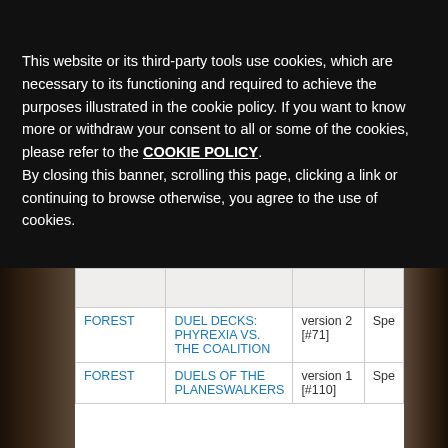Notice
This website or its third-party tools use cookies, which are necessary to its functioning and required to achieve the purposes illustrated in the cookie policy. If you want to know more or withdraw your consent to all or some of the cookies, please refer to the COOKIE POLICY. By closing this banner, scrolling this page, clicking a link or continuing to browse otherwise, you agree to the use of cookies.
|  |  |  |  |
| --- | --- | --- | --- |
|  |  |  |  |
| FOREST | DUEL DECKS: PHYREXIA VS. THE COALITION | version 2 [#71] | Spe |
| FOREST | DUELS OF THE PLANESWALKERS | version 1 [#110] | Spe |